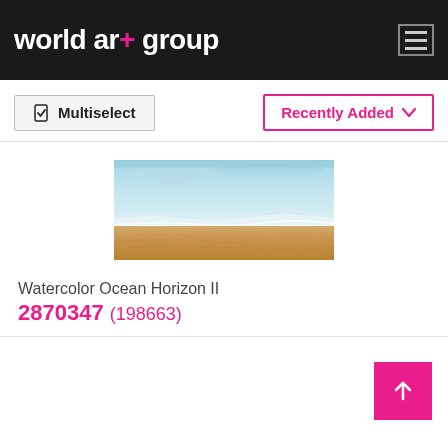world art group
Multiselect
Recently Added
[Figure (illustration): Watercolor painting of an ocean horizon with blue-teal sky, white foam waves, and sandy brown beach in horizontal landscape format.]
Watercolor Ocean Horizon II
2870347 (198663)